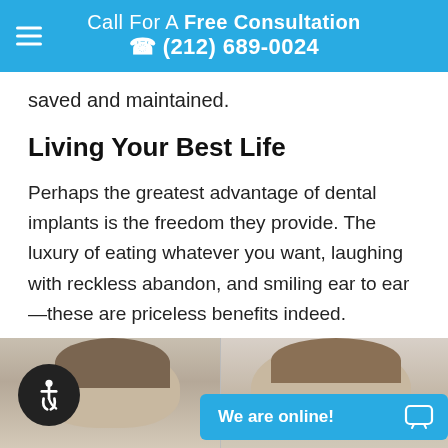Call For A Free Consultation ☎ (212) 689-0024
saved and maintained.
Living Your Best Life
Perhaps the greatest advantage of dental implants is the freedom they provide. The luxury of eating whatever you want, laughing with reckless abandon, and smiling ear to ear—these are priceless benefits indeed.
[Figure (photo): Two people shown from forehead level, side by side. A circular accessibility (wheelchair) icon button is shown at bottom left. A blue 'We are online!' chat bar is shown at bottom right.]